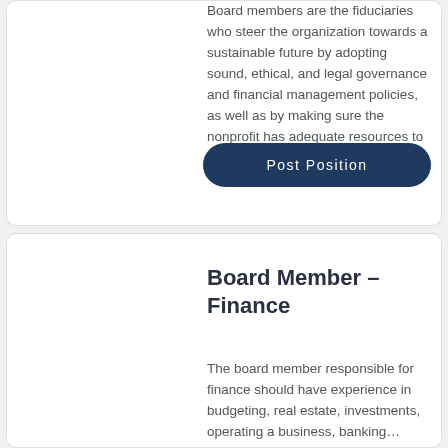Board members are the fiduciaries who steer the organization towards a sustainable future by adopting sound, ethical, and legal governance and financial management policies, as well as by making sure the nonprofit has adequate resources to advance its mission.
Post Position
Board Member – Finance
The board member responsible for finance should have experience in budgeting, real estate, investments, operating a business, banking…